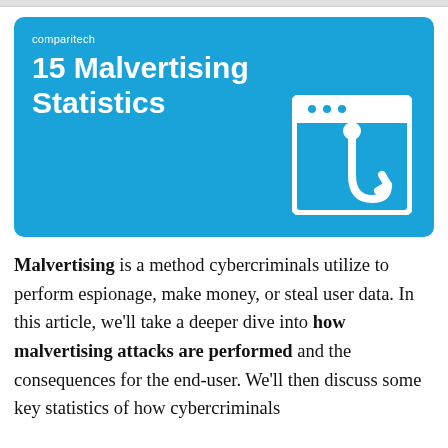[Figure (illustration): Blue banner with comparitech logo text, title '15 Malvertising Statistics', and a white browser window icon containing a fishing hook symbol]
Malvertising is a method cybercriminals utilize to perform espionage, make money, or steal user data. In this article, we'll take a deeper dive into how malvertising attacks are performed and the consequences for the end-user. We'll then discuss some key statistics of how cybercriminals